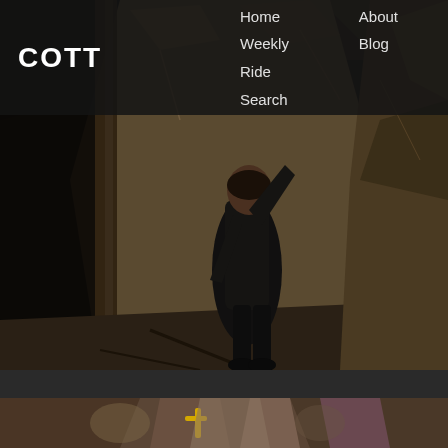COTT | Home | Weekly Ride | Search | About | Blog
[Figure (photo): Person standing inside a rocky cave or mine tunnel, wearing a black leather jacket, with stone walls and wooden support beams visible. The environment is dimly lit.]
[Figure (photo): Close-up view of cave or mine tunnel interior with colorful rock formations and graffiti markings, including yellow painted letters.]